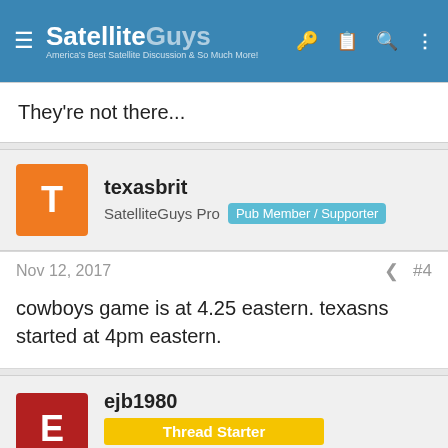SatelliteGuys — America's Best Satellite Discussion & So Much More!
They're not there...
texasbrit
SatelliteGuys Pro  Pub Member / Supporter
Nov 12, 2017  #4
cowboys game is at 4.25 eastern. texasns started at 4pm eastern.
ejb1980
Thread Starter
SatelliteGuys Pro
Nov 12, 2017  #5